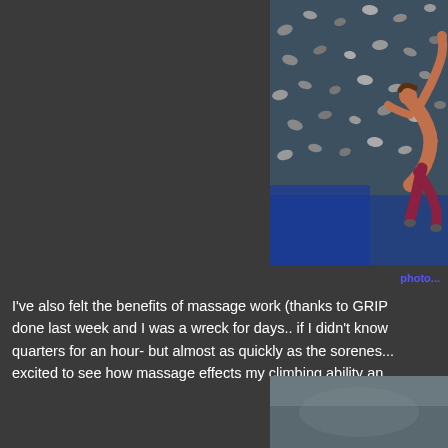[Figure (photo): Person rock climbing on an indoor climbing wall with colorful holds, viewed from above/behind. Blue mats visible at the bottom.]
photo...
I've also felt the benefits of massage work (thanks to GRIP done last week and I was a wreck for days.. if I didn't know quarters for an hour- but almost as quickly as the sorenes... excited to see how massage effects my climbing ability an
[Figure (photo): Partial photo visible at bottom right corner, appears to be an outdoor or sports scene.]